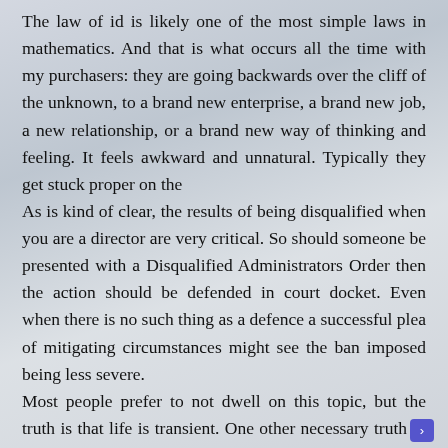The law of id is likely one of the most simple laws in mathematics. And that is what occurs all the time with my purchasers: they are going backwards over the cliff of the unknown, to a brand new enterprise, a brand new job, a new relationship, or a brand new way of thinking and feeling. It feels awkward and unnatural. Typically they get stuck proper on the
As is kind of clear, the results of being disqualified when you are a director are very critical. So should someone be presented with a Disqualified Administrators Order then the action should be defended in court docket. Even when there is no such thing as a defence a successful plea of mitigating circumstances might see the ban imposed being less severe.
Most people prefer to not dwell on this topic, but the truth is that life is transient. One other necessary truth to recollect is that below Ohio law, the assets of the